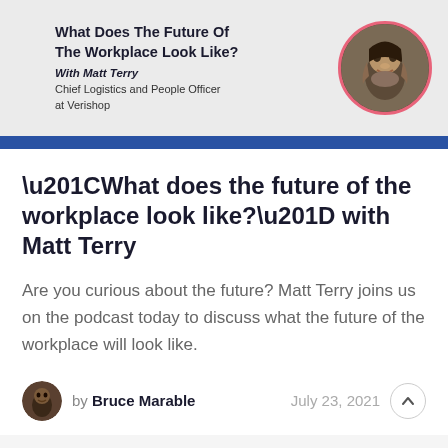[Figure (illustration): Podcast card header with title 'What Does The Future Of The Workplace Look Like?' with Matt Terry, Chief Logistics and People Officer at Verishop, and a circular portrait photo of Matt Terry with a pink border on a light gray background.]
“What does the future of the workplace look like?” with Matt Terry
Are you curious about the future? Matt Terry joins us on the podcast today to discuss what the future of the workplace will look like.
by Bruce Marable   July 23, 2021